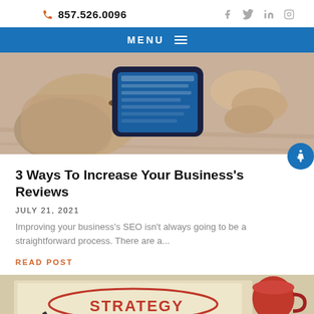857.526.0096
MENU
[Figure (photo): Person holding a smartphone with both hands, wearing a bracelet, viewed from above on a wooden surface]
3 Ways To Increase Your Business's Reviews
JULY 21, 2021
Improving your business's SEO isn't always going to be a straightforward process. There are a...
READ POST
[Figure (photo): Paper with STRATEGY written in red ink with a red circle around it, with a red mug and pen visible]